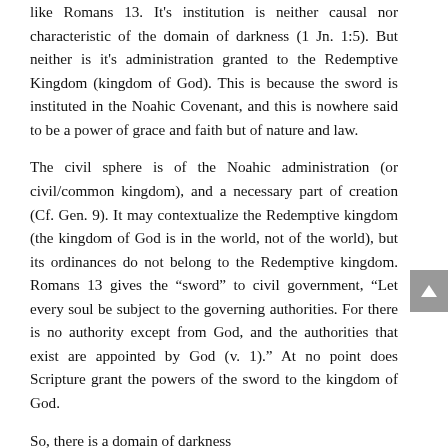like Romans 13. It's institution is neither causal nor characteristic of the domain of darkness (1 Jn. 1:5). But neither is it's administration granted to the Redemptive Kingdom (kingdom of God). This is because the sword is instituted in the Noahic Covenant, and this is nowhere said to be a power of grace and faith but of nature and law.
The civil sphere is of the Noahic administration (or civil/common kingdom), and a necessary part of creation (Cf. Gen. 9). It may contextualize the Redemptive kingdom (the kingdom of God is in the world, not of the world), but its ordinances do not belong to the Redemptive kingdom. Romans 13 gives the “sword” to civil government, “Let every soul be subject to the governing authorities. For there is no authority except from God, and the authorities that exist are appointed by God (v. 1).” At no point does Scripture grant the powers of the sword to the kingdom of God.
So, there is a domain of darkness